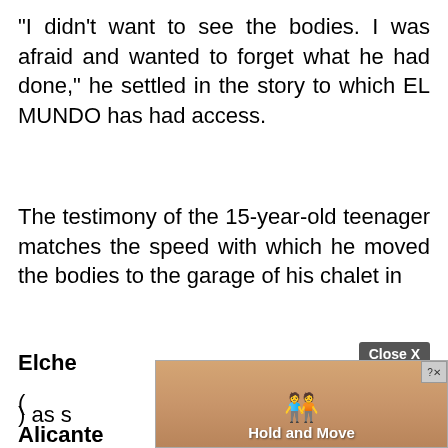"I didn't want to see the bodies. I was afraid and wanted to forget what he had done," he settled in the story to which EL MUNDO has had access.
The testimony of the 15-year-old teenager matches the speed with which he moved the bodies to the garage of his chalet in
Elche
(
Alicante
) as s
[Figure (other): Advertisement overlay showing 'Hold and Move' app with cartoon figures icon, partially covering the text content. Has a 'Close X' button and a question mark/x corner button.]